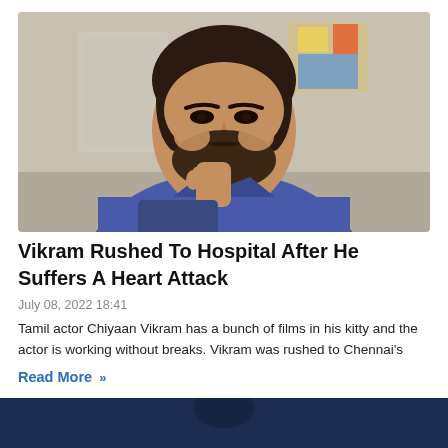[Figure (photo): Tamil actor Chiyaan Vikram in a blue shirt, with beard, hand raised to chin in a thoughtful pose, photographed against a blurred indoor background.]
Vikram Rushed To Hospital After He Suffers A Heart Attack
July 08, 2022 18:41
Tamil actor Chiyaan Vikram has a bunch of films in his kitty and the actor is working without breaks. Vikram was rushed to Chennai's
Read More »
[Figure (photo): Partial view of another article's photo — dark blue tinted image visible at the bottom of the page.]